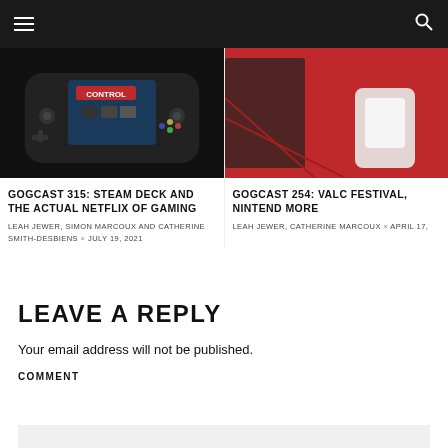[Figure (photo): Steam Deck handheld gaming device showing the Control game on screen, dark background]
GOGCAST 315: STEAM DECK AND THE ACTUAL NETFLIX OF GAMING
LEAH JEWER, SIMON MARCOUX AND CATHERINE SMITH-DESBIENS × JULY 19, 2021
[Figure (photo): Partial view of a person at what appears to be a gaming festival, red background with white chair]
GOGCAST 254: VALC FESTIVAL, NINTENDO MORE
LEAH JEWER, CATHERINE MARCOUX × APRIL 17,
LEAVE A REPLY
Your email address will not be published.
COMMENT